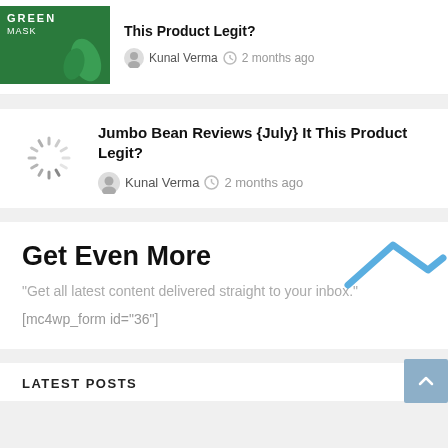[Figure (photo): Green product image (GREEN MASK label visible) with leaves, partially cropped at top]
This Product Legit?
Kunal Verma  2 months ago
Jumbo Bean Reviews {July} It This Product Legit?
Kunal Verma  2 months ago
Get Even More
"Get all latest content delivered straight to your inbox."
[mc4wp_form id="36"]
LATEST POSTS